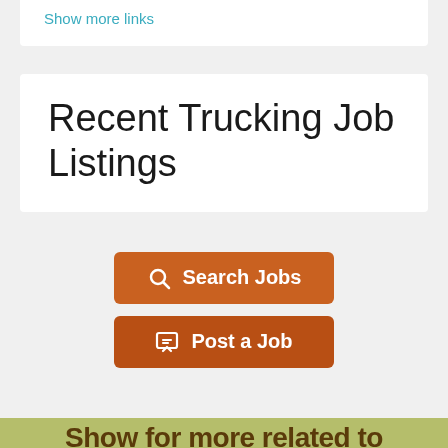Show more links
Recent Trucking Job Listings
Search Jobs
Post a Job
Show for more related topics